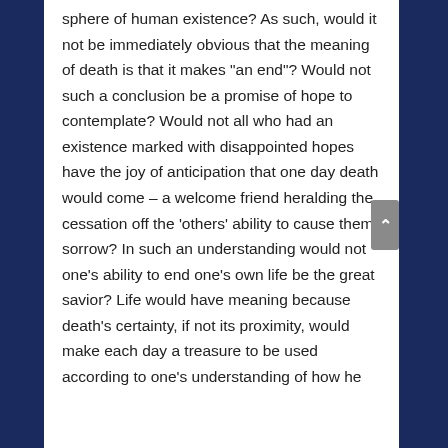sphere of human existence? As such, would it not be immediately obvious that the meaning of death is that it makes "an end"? Would not such a conclusion be a promise of hope to contemplate? Would not all who had an existence marked with disappointed hopes have the joy of anticipation that one day death would come – a welcome friend heralding the cessation off the 'others' ability to cause them sorrow? In such an understanding would not one's ability to end one's own life be the great savior? Life would have meaning because death's certainty, if not its proximity, would make each day a treasure to be used according to one's understanding of how he